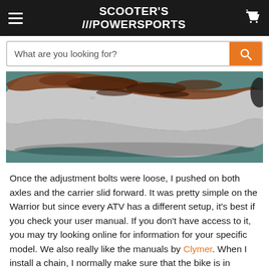SCOOTER'S ///POWERSPORTS
[Figure (photo): Close-up photograph of a rusty/corroded metal component (likely a chain or axle carrier part) on a teal/green background. The metal shows significant rust and dark corrosion buildup.]
Once the adjustment bolts were loose, I pushed on both axles and the carrier slid forward. It was pretty simple on the Warrior but since every ATV has a different setup, it's best if you check your user manual. If you don't have access to it, you may try looking online for information for your specific model. We also really like the manuals by Clymer. When I install a chain, I normally make sure that the bike is in neutral first. That way I